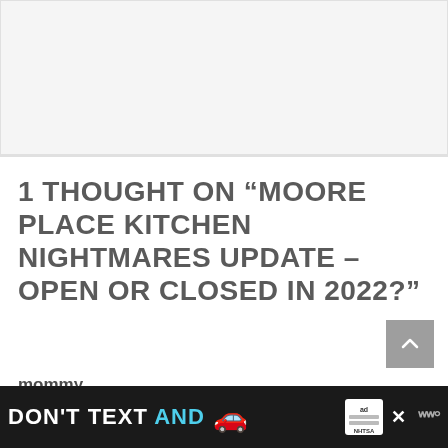[Figure (other): Top advertisement placeholder area, light gray background]
1 THOUGHT ON “MOORE PLACE KITCHEN NIGHTMARES UPDATE – OPEN OR CLOSED IN 2022?”
mommy
June 6, 2022 at 11:33 am
[Figure (other): Bottom advertisement banner: DON'T TEXT AND [car emoji] with ad and NHTSA logos and close button, dark background]